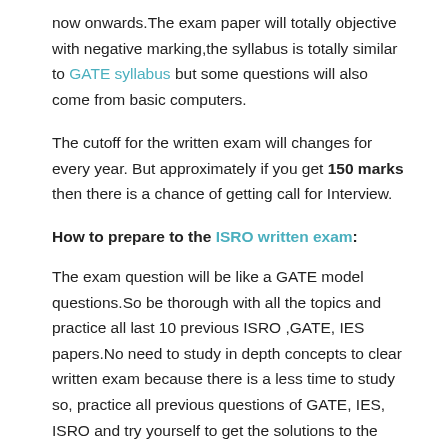now onwards.The exam paper will totally objective with negative marking,the syllabus is totally similar to GATE syllabus but some questions will also come from basic computers.
The cutoff for the written exam will changes for every year. But approximately if you get 150 marks then there is a chance of getting call for Interview.
How to prepare to the ISRO written exam:
The exam question will be like a GATE model questions.So be thorough with all the topics and practice all last 10 previous ISRO ,GATE, IES papers.No need to study in depth concepts to clear written exam because there is a less time to study so, practice all previous questions of GATE, IES, ISRO and try yourself to get the solutions to the previous questions. I  think